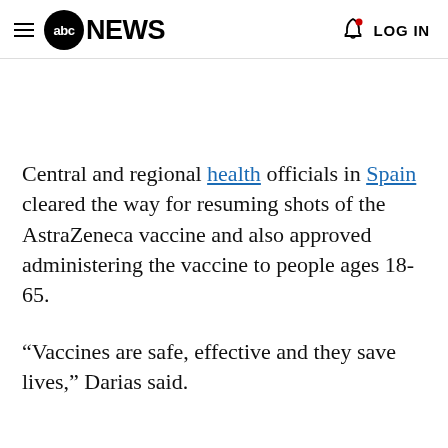≡ abc NEWS  LOG IN
Central and regional health officials in Spain cleared the way for resuming shots of the AstraZeneca vaccine and also approved administering the vaccine to people ages 18-65.
“Vaccines are safe, effective and they save lives,” Darias said.